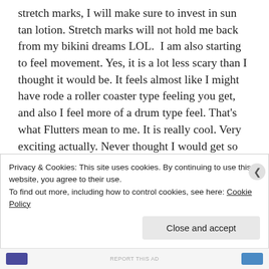stretch marks, I will make sure to invest in sun tan lotion. Stretch marks will not hold me back from my bikini dreams LOL. I am also starting to feel movement. Yes, it is a lot less scary than I thought it would be. It feels almost like I might have rode a roller coaster type feeling you get, and also I feel more of a drum type feel. That's what Flutters mean to me. It is really cool. Very exciting actually. Never thought I would get so very into this pregnancy, but I am actually having an okay experience. Sure, I am tired, slightly lazy, nauseated and feel like a rolley polley when I try to get out of bed, but it is not bad at all. I am here to tell you, it's pretty enjoyable. Until next time!
Privacy & Cookies: This site uses cookies. By continuing to use this website, you agree to their use.
To find out more, including how to control cookies, see here: Cookie Policy
Close and accept